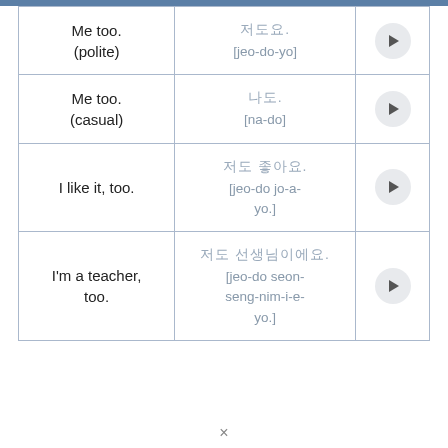| English | Korean | Play |
| --- | --- | --- |
| Me too. (polite) | 저도요. [jeo-do-yo] | ▶ |
| Me too. (casual) | 나도. [na-do] | ▶ |
| I like it, too. | 저도 좋아요. [jeo-do jo-a-yo.] | ▶ |
| I'm a teacher, too. | 저도 선생님이에요. [jeo-do seon-seng-nim-i-e-yo.] | ▶ |
×